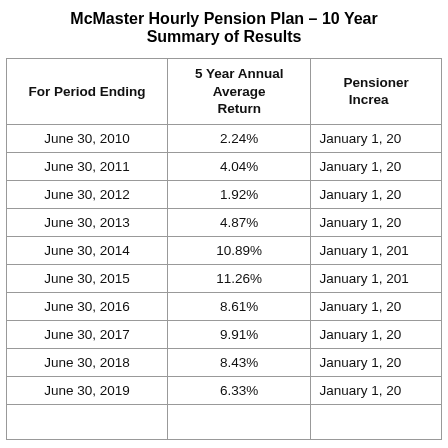McMaster Hourly Pension Plan – 10 Year Summary of Results
| For Period Ending | 5 Year Annual Average Return | Pensioner Increase |
| --- | --- | --- |
| June 30, 2010 | 2.24% | January 1, 20... |
| June 30, 2011 | 4.04% | January 1, 20... |
| June 30, 2012 | 1.92% | January 1, 20... |
| June 30, 2013 | 4.87% | January 1, 20... |
| June 30, 2014 | 10.89% | January 1, 201... |
| June 30, 2015 | 11.26% | January 1, 201... |
| June 30, 2016 | 8.61% | January 1, 20... |
| June 30, 2017 | 9.91% | January 1, 20... |
| June 30, 2018 | 8.43% | January 1, 20... |
| June 30, 2019 | 6.33% | January 1, 20... |
|  |  |  |